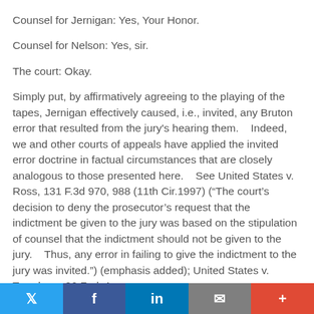Counsel for Jernigan:  Yes, Your Honor.
Counsel for Nelson:  Yes, sir.
The court:  Okay.
Simply put, by affirmatively agreeing to the playing of the tapes, Jernigan effectively caused, i.e., invited, any Bruton error that resulted from the jury's hearing them.    Indeed, we and other courts of appeals have applied the invited error doctrine in factual circumstances that are closely analogous to those presented here.    See United States v. Ross, 131 F.3d 970, 988 (11th Cir.1997) (“The court’s decision to deny the prosecutor’s request that the indictment be given to the jury was based on the stipulation of counsel that the indictment should not be given to the jury.    Thus, any error in failing to give the indictment to the jury was invited.”) (emphasis added); United States v. Treadway, 26 Fed. Appx.
Twitter | Facebook | LinkedIn | Email | +